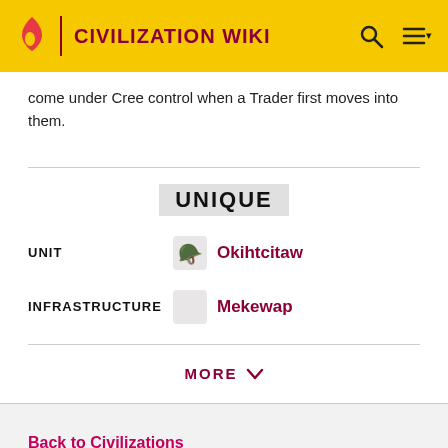CIVILIZATION WIKI
come under Cree control when a Trader first moves into them.
UNIQUE
UNIT   Okihtcitaw
INFRASTRUCTURE   Mekewap
MORE
Back to Civilizations